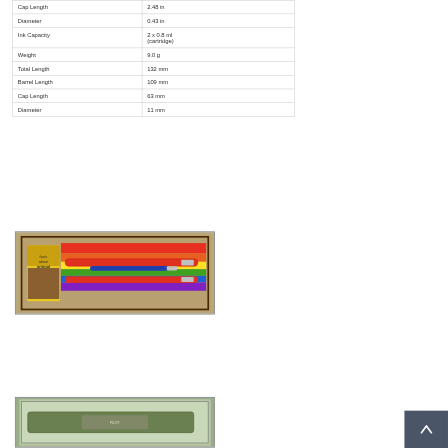| Attribute | Value |
| --- | --- |
| Cap Length | 2.48 in |
| Diameter | 0.43 in |
| Ink Capacity | 2 x 0.8 ml
(cartridge) |
| Weight | 9.0 g |
| Total Length | 132 mm |
| Barrel Length | 109 mm |
| Cap Length | 63 mm |
| Diameter | 11 mm |
[Figure (photo): Red pens in a box with animal-themed packaging, rainbow-colored backdrop, includes booklet labeled 'facts about animals']
[Figure (photo): Pen in green/olive packaging displayed in a clear plastic tray]